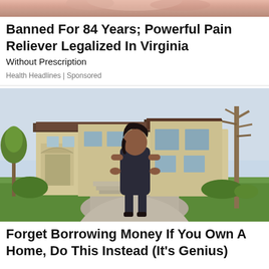[Figure (photo): Cropped photo showing close-up of skin, likely hands or body, pink/peach tones, partially visible at top of page]
Banned For 84 Years; Powerful Pain Reliever Legalized In Virginia
Without Prescription
Health Headlines | Sponsored
[Figure (photo): Woman in dark sleeveless dress standing in front of large luxury house with driveway, trees, and green lawn]
Forget Borrowing Money If You Own A Home, Do This Instead (It's Genius)